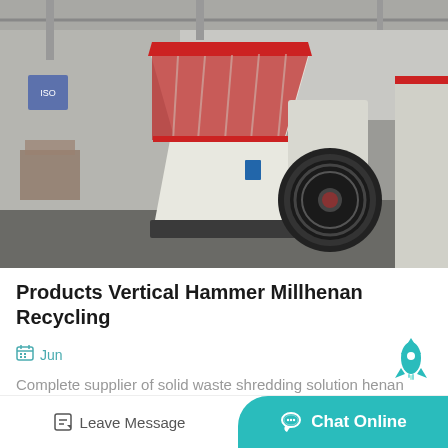[Figure (photo): Industrial vertical hammer mill machine, white and red colored, with large flywheel, inside a factory/warehouse setting]
Products Vertical Hammer Millhenan Recycling
Jun
Complete supplier of solid waste shredding solution henan
Leave Message
Chat Online